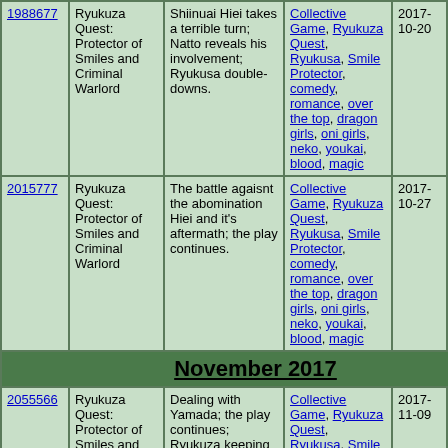| ID | Name | Description | Tags | Date | # | V |
| --- | --- | --- | --- | --- | --- | --- |
| 1988677 | Ryukuza Quest: Protector of Smiles and Criminal Warlord | Shiinuai Hiei takes a terrible turn; Natto reveals his involvement; Ryukusa double-downs. | Collective Game, Ryukuza Quest, Ryukusa, Smile Protector, comedy, romance, over the top, dragon girls, oni girls, neko, youkai, blood, magic | 2017-10-20 | 6 | V |
| 2015777 | Ryukuza Quest: Protector of Smiles and Criminal Warlord | The battle agaisnt the abomination Hiei and it's aftermath; the play continues. | Collective Game, Ryukuza Quest, Ryukusa, Smile Protector, comedy, romance, over the top, dragon girls, oni girls, neko, youkai, blood, magic | 2017-10-27 | 6 | V |
| November 2017 |
| 2055566 | Ryukuza Quest: Protector of Smiles and Criminal Warlord | Dealing with Yamada; the play continues; Ryukuza keeping herself together, rather literally. | Collective Game, Ryukuza Quest, Ryukusa, Smile Protector, comedy, romance, over the top, dragon girls, oni girls, neko, youkai, | 2017-11-09 | 6 | V |